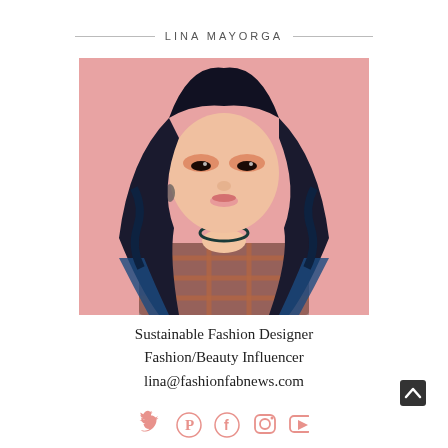LINA MAYORGA
[Figure (photo): Portrait photo of Lina Mayorga, a young woman with long dark-to-blue ombre wavy hair, wearing a plaid orange and dark teal/sheer top, against a pink background.]
Sustainable Fashion Designer
Fashion/Beauty Influencer
lina@fashionfabnews.com
[Figure (infographic): Social media icons row: Twitter (bird), Pinterest (P), Facebook (f), Instagram (camera), YouTube (play button) — all in pink/salmon color.]